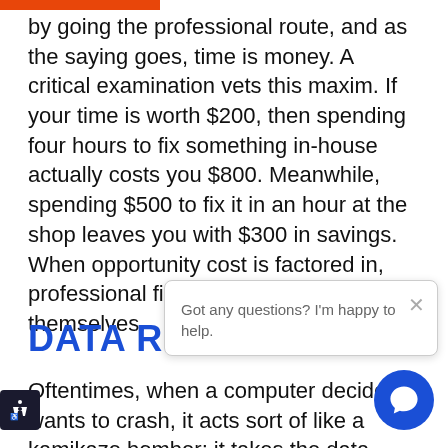by going the professional route, and as the saying goes, time is money. A critical examination vets this maxim. If your time is worth $200, then spending four hours to fix something in-house actually costs you $800. Meanwhile, spending $500 to fix it in an hour at the shop leaves you with $300 in savings. When opportunity cost is factored in, professional fixes recommend themselves.
DATA RET
Oftentimes, when a computer decides it wants to crash, it acts sort of like a kamikaze bomber; it takes the data down
[Figure (screenshot): Chat popup overlay with close button (×) and text 'Got any questions? I'm happy to help.' with a circular dark blue chat button icon in the bottom right corner.]